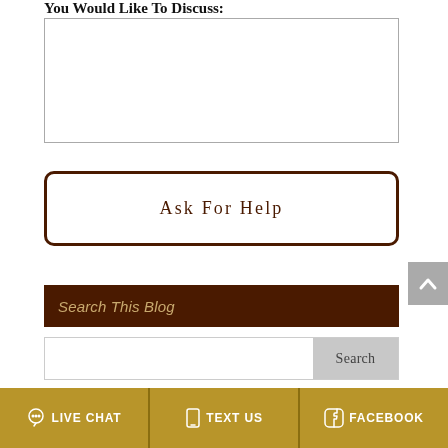You Would Like To Discuss:
[Figure (other): Empty textarea input box for user to type a message]
[Figure (other): Button labeled 'Ask For Help' with dark brown border and rounded corners]
Search This Blog
[Figure (other): Search input bar with 'Search' button on the right]
LIVE CHAT   TEXT US   FACEBOOK